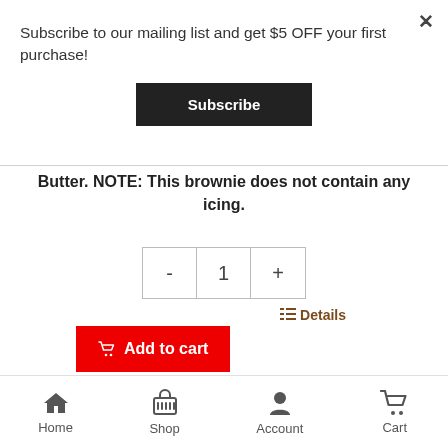Subscribe to our mailing list and get $5 OFF your first purchase!
Subscribe
Butter. NOTE: This brownie does not contain any icing.
- 1 +
Details
Add to cart
Home  Shop  Account  Cart